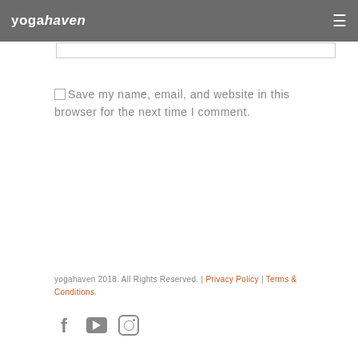yogahaven
Save my name, email, and website in this browser for the next time I comment.
SUBMIT COMMENT
yogahaven 2018. All Rights Reserved. | Privacy Policy | Terms & Conditions.
[Figure (other): Social media icons: Facebook, YouTube, Instagram]